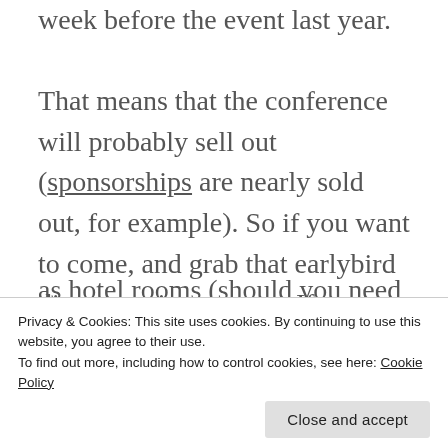week before the event last year.

That means that the conference will probably sell out (sponsorships are nearly sold out, for example). So if you want to come, and grab that earlybird discount, sign up now. If you have not gotten an invitation, consider this post your invite, and head here. You need to fill out a form
Privacy & Cookies: This site uses cookies. By continuing to use this website, you agree to their use.
To find out more, including how to control cookies, see here: Cookie Policy
as hotel rooms (should you need one) are